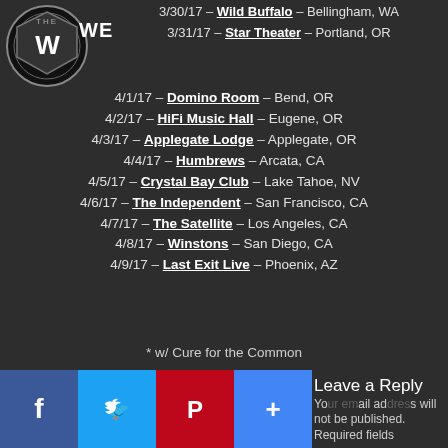[Figure (logo): The Werks band logo - circular emblem with W symbol and stylized text]
3/30/17 – Wild Buffalo – Bellingham, WA
3/31/17 – Star Theater – Portland, OR
4/1/17 – Domino Room – Bend, OR
4/2/17 – HiFi Music Hall – Eugene, OR
4/3/17 – Applegate Lodge – Applegate, OR
4/4/17 – Humbrews – Arcata, CA
4/5/17 – Crystal Bay Club – Lake Tahoe, NV
4/6/17 – The Independent – San Francisco, CA
4/7/17 – The Satellite – Los Angeles, CA
4/8/17 – Winstons – San Diego, CA
4/9/17 – Last Exit Live – Phoenix, AZ
* w/ Cure for the Common
# w/ Swift Technique
~ w/ Moogatu
Leave a Reply
Your email address will not be published. Required fields